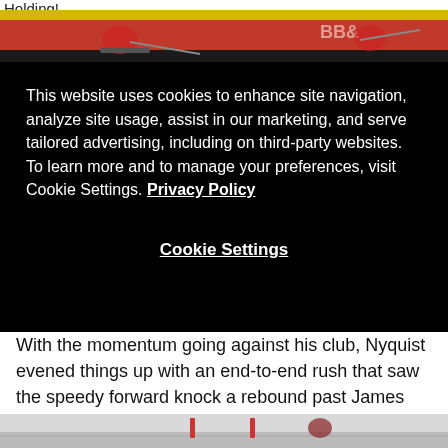Holding!
[Figure (photo): Hockey game action photo, top portion showing players on ice with yellow boards and sponsor signage]
This website uses cookies to enhance site navigation, analyze site usage, assist in our marketing, and serve tailored advertising, including on third-party websites. To learn more and to manage your preferences, visit Cookie Settings. Privacy Policy

Cookie Settings
With the momentum going against his club, Nyquist evened things up with an end-to-end rush that saw the speedy forward knock a rebound past James Reimer after Aaron Ekblad inadvertently put the puck on his own goal.
[Figure (photo): Hockey game photo, bottom portion showing players near goal]